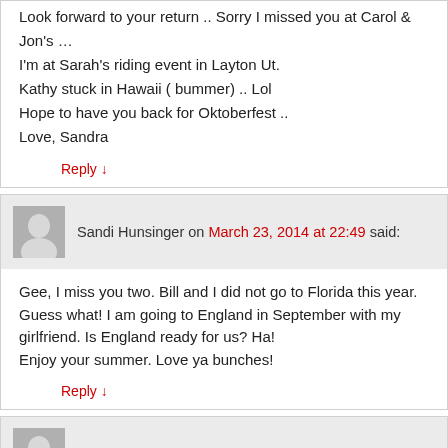Look forward to your return .. Sorry I missed you at Carol & Jon's …
I'm at Sarah's riding event in Layton Ut.
Kathy stuck in Hawaii ( bummer) .. Lol
Hope to have you back for Oktoberfest ..
Love, Sandra
Reply ↓
Sandi Hunsinger on March 23, 2014 at 22:49 said:
Gee, I miss you two. Bill and I did not go to Florida this year. Guess what! I am going to England in September with my girlfriend. Is England ready for us? Ha!
Enjoy your summer. Love ya bunches!
Reply ↓
Paul on April 23, 2014 at 15:31 said:
Hi Pat & Lorna,
Long time no see (or should that be sea?) but just spent a week sailing at Club Vounaki in Greece and finally got my